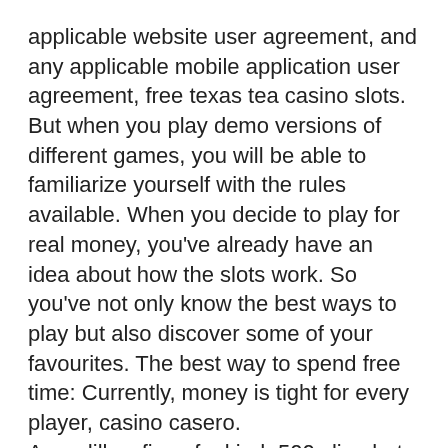applicable website user agreement, and any applicable mobile application user agreement, free texas tea casino slots. But when you play demo versions of different games, you will be able to familiarize yourself with the rules available. When you decide to play for real money, you've already have an idea about how the slots work. So you've not only know the best ways to play but also discover some of your favourites. The best way to spend free time: Currently, money is tight for every player, casino casero.
Armadillo—five of a kind=500x line bet · ted's private plane—five of a kind=250 x line bet · ted's prized bull—. In the new slot machine called texas tea pinball by igt, players will be drilling and pump. Powered by peatix : more than a ticket. Play texas tea slot machine for free. Try the online casino game totally free, no